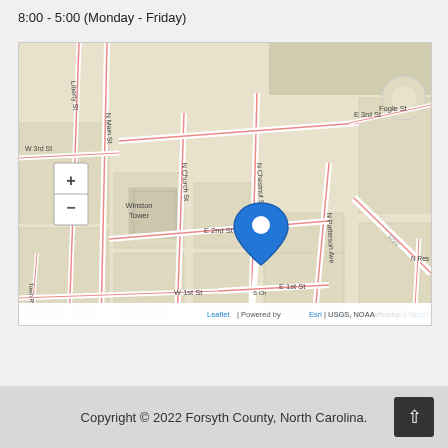8:00 - 5:00 (Monday - Friday)
[Figure (map): Street map of downtown Winston-Salem, NC area showing intersection near N Chestnut St, with a blue location pin marker. Streets visible include E 3rd St, Fogle St, W 3rd St, N Main St, N Church St, E 2nd St, N Chestnut St, N Patterson Ave, Town Run Ln, W 1st St, E 1st St, S Chestnut St. Winston Tower labeled. Map attribution: Leaflet | Powered by Esri | USGS, NOAA]
Copyright © 2022 Forsyth County, North Carolina.